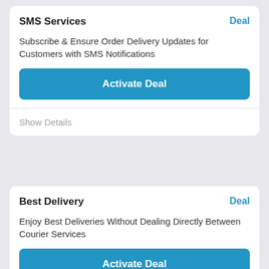SMS Services
Deal
Subscribe & Ensure Order Delivery Updates for Customers with SMS Notifications
Activate Deal
Show Details
Best Delivery
Deal
Enjoy Best Deliveries Without Dealing Directly Between Courier Services
Activate Deal